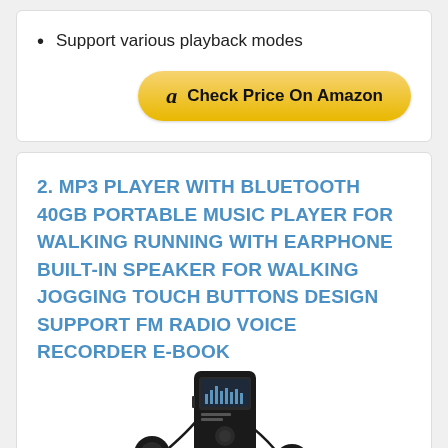Support various playback modes
Check Price On Amazon
2. MP3 PLAYER WITH BLUETOOTH 40GB PORTABLE MUSIC PLAYER FOR WALKING RUNNING WITH EARPHONE BUILT-IN SPEAKER FOR WALKING JOGGING TOUCH BUTTONS DESIGN SUPPORT FM RADIO VOICE RECORDER E-BOOK
[Figure (photo): MP3 player device with earphones, black rectangular portable music player with small screen]